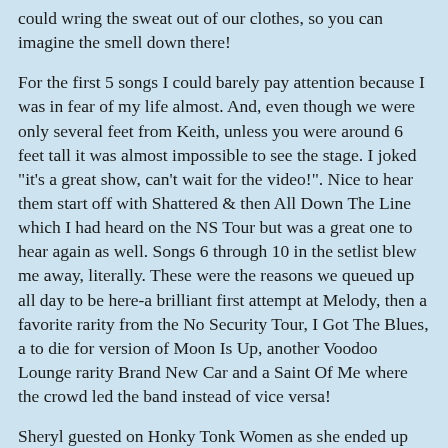could wring the sweat out of our clothes, so you can imagine the smell down there!
For the first 5 songs I could barely pay attention because I was in fear of my life almost. And, even though we were only several feet from Keith, unless you were around 6 feet tall it was almost impossible to see the stage. I joked "it's a great show, can't wait for the video!". Nice to hear them start off with Shattered & then All Down The Line which I had heard on the NS Tour but was a great one to hear again as well. Songs 6 through 10 in the setlist blew me away, literally. These were the reasons we queued up all day to be here-a brilliant first attempt at Melody, then a favorite rarity from the No Security Tour, I Got The Blues, a to die for version of Moon Is Up, another Voodoo Lounge rarity Brand New Car and a Saint Of Me where the crowd led the band instead of vice versa!
Sheryl guested on Honky Tonk Women as she ended up doing at all the UK shows. Keith did Silver, my favorite officially released Keith track, but he had a bit of trouble recalling the lyrics that night! A rocking Before They Make Me Run and the usual Hot Rocks portion with the NS B stage fave Rt. 66 thrown in. When I could see the boys, which was rarely mind you, they looked like they were having a great time. Of course the fans were in heaven & then we had all the celebrities just above our heads, like Aerosmith, Liz Hurley, Jimmy Page, Bob Geldolf, and all the Stones families. Mick even made the comment about "wives & ex-